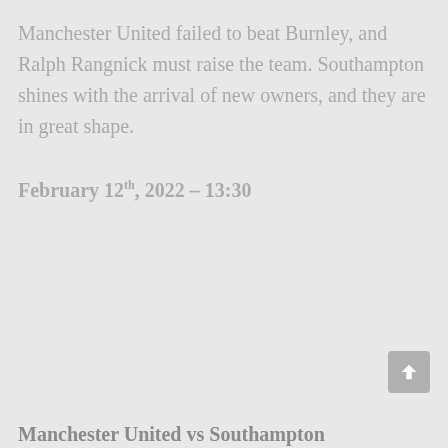Manchester United failed to beat Burnley, and Ralph Rangnick must raise the team. Southampton shines with the arrival of new owners, and they are in great shape.
February 12th, 2022 – 13:30
Manchester United vs Southampton